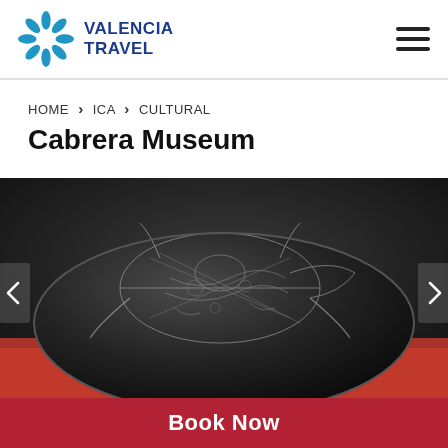VALENCIA TRAVEL
HOME › ICA › CULTURAL
Cabrera Museum
[Figure (photo): A dark engraved stone artifact displayed on a red surface, with intricate white line carvings depicting various creatures and patterns. Part of the Cabrera Museum collection.]
Book Now